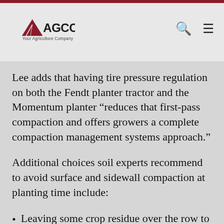AGCO Your Agriculture Company
Lee adds that having tire pressure regulation on both the Fendt planter tractor and the Momentum planter “reduces that first-pass compaction and offers growers a complete compaction management systems approach.”
Additional choices soil experts recommend to avoid surface and sidewall compaction at planting time include:
Leaving some crop residue over the row to reduce crusting